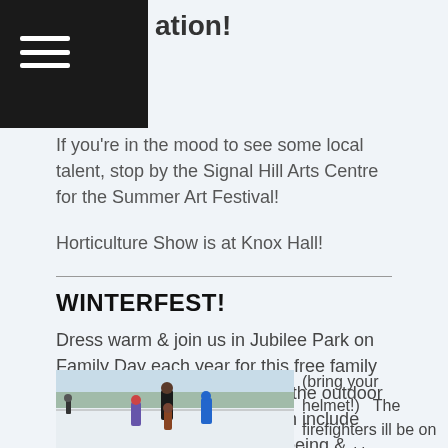ation!
If you're in the mood to see some local talent, stop by the Signal Hill Arts Centre for the Summer Art Festival!
Horticulture Show is at Knox Hall!
WINTERFEST!
Dress warm & join us in Jubilee Park on Family Day each year for this free family Winter Festival!   Take in the the outdoor events from 1-3:00 p.m. which include cross country skiing, snowshoeing & skating (bring your helmet!)   The firefighters ill be on hand with a roaring
[Figure (photo): Family photo outdoors in winter at a snowy park, featuring children and adults in winter clothing]